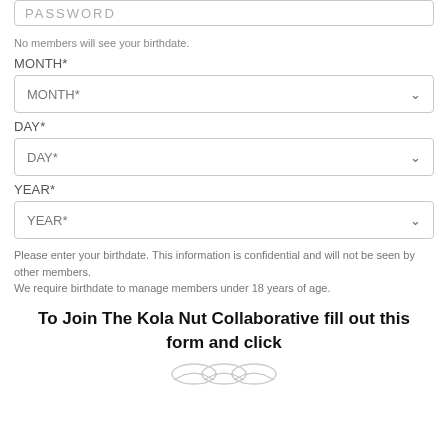[Figure (screenshot): Password input field (top, partially visible)]
No members will see your birthdate.
MONTH*
[Figure (screenshot): MONTH* dropdown select field]
DAY*
[Figure (screenshot): DAY* dropdown select field]
YEAR*
[Figure (screenshot): YEAR* dropdown select field]
Please enter your birthdate. This information is confidential and will not be seen by other members.
We require birthdate to manage members under 18 years of age.
To Join The Kola Nut Collaborative fill out this form and click